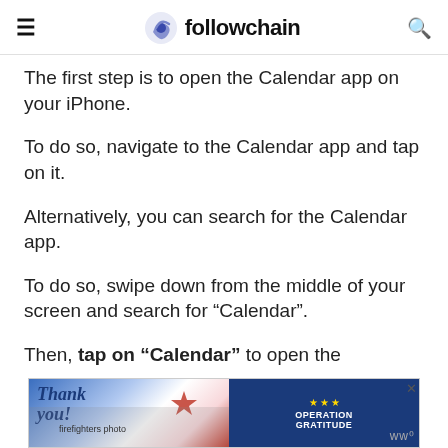followchain
The first step is to open the Calendar app on your iPhone.
To do so, navigate to the Calendar app and tap on it.
Alternatively, you can search for the Calendar app.
To do so, swipe down from the middle of your screen and search for “Calendar”.
Then, tap on “Calendar” to open the Calendar app.
[Figure (screenshot): Advertisement banner for Operation Gratitude with 'Thank you!' handwritten text and firefighters photo]